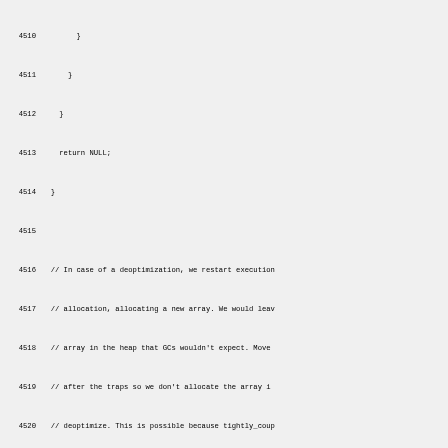[Figure (screenshot): Source code listing showing C++ code lines 4510-4539, with line numbers on the left and monospace code on the right, on a light gray background.]